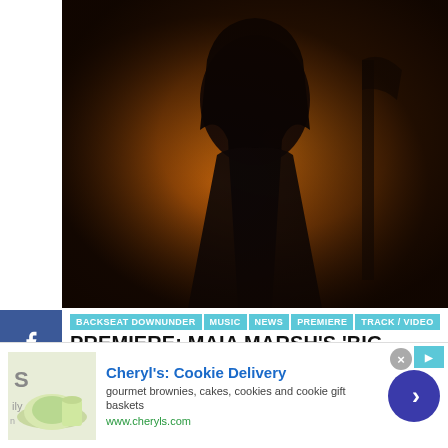[Figure (photo): Person with dark hair against orange background, wearing dark clothing with necklaces]
BACKSEAT DOWNUNDER | MUSIC | NEWS | PREMIERE | TRACK / VIDEO
PREMIERE: MAIA MARSH'S 'BIG DEAL' IS A MESMERISING, ENCHANTING SINGLE FUSING A DREAM POP FUGUE WITH A FOLK AMBIENCE.
ARUN KENDALL  AUGUST 16, 2022
[Figure (infographic): Advertisement: Cheryl's Cookie Delivery - gourmet brownies, cakes, cookies and cookie gift baskets. www.cheryls.com]